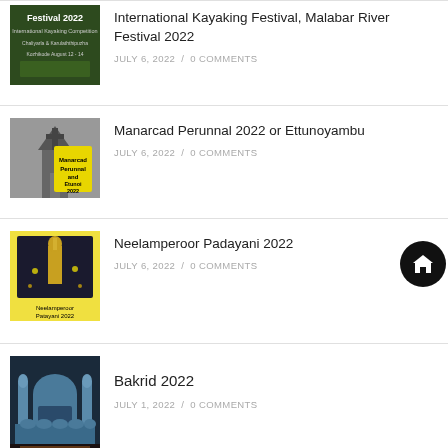International Kayaking Festival, Malabar River Festival 2022
JULY 6, 2022 / 0 COMMENTS
Manarcad Perunnal 2022 or Ettunoyambu
JULY 6, 2022 / 0 COMMENTS
Neelamperoor Padayani 2022
JULY 6, 2022 / 0 COMMENTS
Bakrid 2022
JULY 1, 2022 / 0 COMMENTS
[Figure (photo): Partial thumbnail at bottom of page]